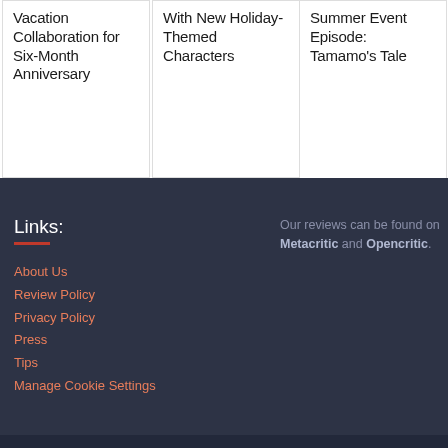Vacation Collaboration for Six-Month Anniversary
With New Holiday-Themed Characters
Summer Event Episode: Tamamo's Tale
Links:
About Us
Review Policy
Privacy Policy
Press
Tips
Manage Cookie Settings
Our reviews can be found on Metacritic and Opencritic.